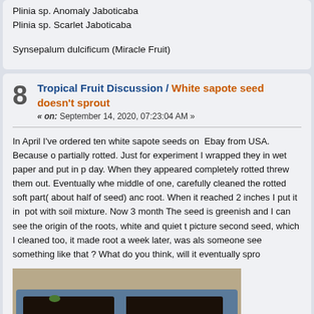Plinia sp. Anomaly Jaboticaba
Plinia sp. Scarlet Jaboticaba
Synsepalum dulcificum (Miracle Fruit)
8  Tropical Fruit Discussion / White sapote seed doesn't sprout
« on: September 14, 2020, 07:23:04 AM »
In April I've ordered ten white sapote seeds on  Ebay from USA. Because o...
[Figure (photo): Photo of plant pots with dark soil in a blue tray, outdoors on sandy ground, with small seedlings visible]